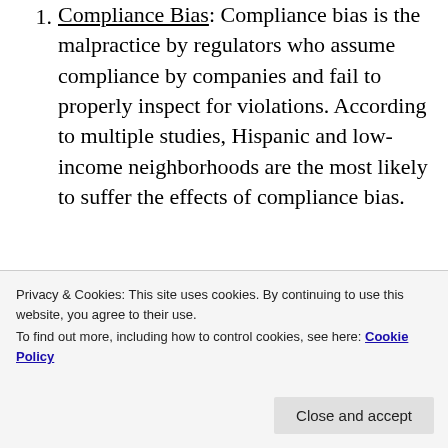Compliance Bias: Compliance bias is the malpractice by regulators who assume compliance by companies and fail to properly inspect for violations. According to multiple studies, Hispanic and low-income neighborhoods are the most likely to suffer the effects of compliance bias.
Low Political Power: Community political influence is correlated positively with higher median income, a greater
Privacy & Cookies: This site uses cookies. By continuing to use this website, you agree to their use.
To find out more, including how to control cookies, see here: Cookie Policy
more easily sited in areas with fewer